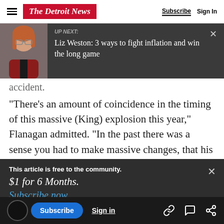The Detroit News — Subscribe | Sign In
[Figure (screenshot): UP NEXT banner with photo of woman and title: Liz Weston: 3 ways to fight inflation and win the long game]
accident.
“There’s an amount of coincidence in the timing of this massive (King) explosion this year,” Flanagan admitted. “In the past there was a sense you had to make massive changes, that his
This article is free to the community.
$1 for 6 Months.
Subscribe now
aptation.
Subscribe | Sign in